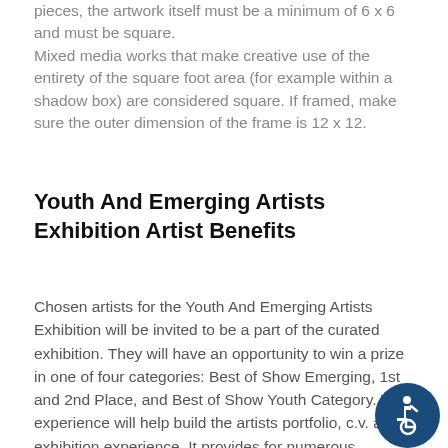pieces, the artwork itself must be a minimum of 6 x 6 and must be square.
Mixed media works that make creative use of the entirety of the square foot area (for example within a shadow box) are considered square. If framed, make sure the outer dimension of the frame is 12 x 12.
Youth And Emerging Artists Exhibition Artist Benefits
Chosen artists for the Youth And Emerging Artists Exhibition will be invited to be a part of the curated exhibition. They will have an opportunity to win a prize in one of four categories: Best of Show Emerging, 1st and 2nd Place, and Best of Show Youth Category. The experience will help build the artists portfolio, c.v. and exhibition experience. It provides for numerous networking opportunities with both their peers and professional art